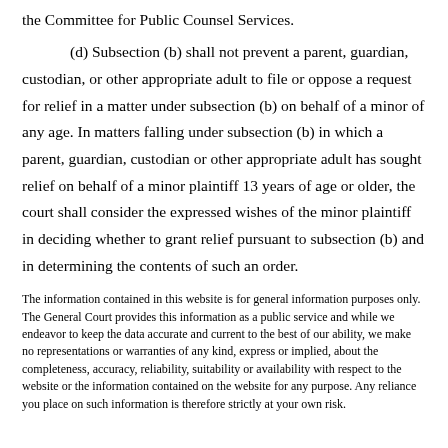the Committee for Public Counsel Services.
(d) Subsection (b) shall not prevent a parent, guardian, custodian, or other appropriate adult to file or oppose a request for relief in a matter under subsection (b) on behalf of a minor of any age. In matters falling under subsection (b) in which a parent, guardian, custodian or other appropriate adult has sought relief on behalf of a minor plaintiff 13 years of age or older, the court shall consider the expressed wishes of the minor plaintiff in deciding whether to grant relief pursuant to subsection (b) and in determining the contents of such an order.
The information contained in this website is for general information purposes only. The General Court provides this information as a public service and while we endeavor to keep the data accurate and current to the best of our ability, we make no representations or warranties of any kind, express or implied, about the completeness, accuracy, reliability, suitability or availability with respect to the website or the information contained on the website for any purpose. Any reliance you place on such information is therefore strictly at your own risk.